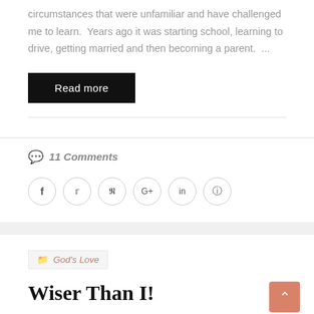circumstances that were unfamiliar and have challenged me to learn.  Years ago it was starting school, learning to drive, getting married and then becoming a parent.  ...
Read more
11 Comments
[Figure (infographic): Social sharing icons: Facebook, Twitter, Pinterest, Google+, LinkedIn, WhatsApp — each in a circle outline]
God's Love
Wiser Than I!